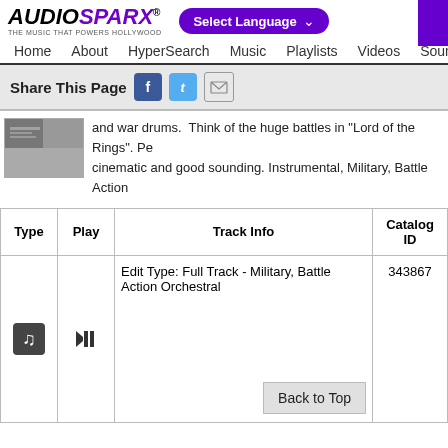AUDIOSPARX - THE MUSIC THAT POWERS HOLLYWOOD
Select Language
Home  About  HyperSearch  Music  Playlists  Videos  Sound
Share This Page
and war drums. Think of the huge battles in "Lord of the Rings". Pe... cinematic and good sounding. Instrumental, Military, Battle Action
| Type | Play | Track Info | Catalog ID |
| --- | --- | --- | --- |
|  |  | Edit Type: Full Track - Military, Battle Action Orchestral | 343867 |
Back to Top